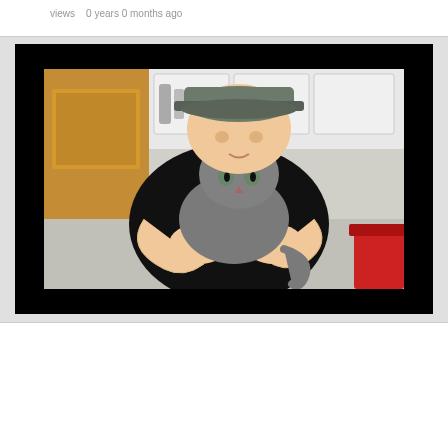views   0 years 0 months ago
[Figure (photo): A man wearing a gray baseball cap and black t-shirt holding and kissing a gray cat in what appears to be a veterinary office with wooden cabinets and medical supplies visible in the background.]
HOW TO SAY GOODBYE TO A DYING CAT
views   0 years 0 months ago